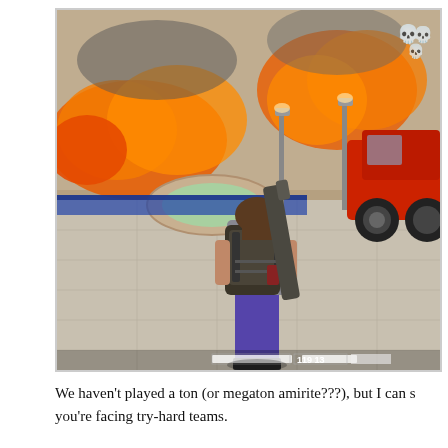[Figure (screenshot): A video game screenshot showing a female character from behind, carrying a large rocket launcher and a tactical backpack, wearing a gray top and purple pants. The background shows an urban plaza scene with a fountain, street lamps, a red pickup truck, and large explosions/fire in the background. There is a HUD element at the bottom showing health/ammo bars and the number 119 13. In the upper right corner there are skull icons in red.]
We haven't played a ton (or megaton amirite???), but I can s... you're facing try-hard teams.